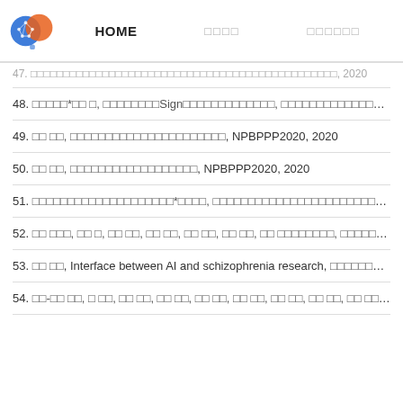HOME | □□□□ | □□□□□□
47. [partial/truncated entry], 2020
48. □□□□□*□□ □, □□□□□□□□Sign□□□□□□□□□□□□□, □□□□□□□□□□□□□□□, 2021
49. □□ □□, □□□□□□□□□□□□□□□□□□□□□□, NPBPPP2020, 2020
50. □□ □□, □□□□□□□□□□□□□□□□□□, NPBPPP2020, 2020
51. □□□□□□□□□□□□□□□□□□□□*□□□□, □□□□□□□□□□□□□□□□□□□□□□□□□□□□□□□□□□□□□□□□□□□□□□□□□□□
52. □□ □□□, □□ □, □□ □□, □□ □□, □□ □□, □□ □□, □□ □□□□□□□□, □□□□□□□□□□□□□□□□□□□□□□□□□□
53. □□ □□, Interface between AI and schizophrenia research, □□□□□□□, 2...
54. □□-□□ □□, □ □□, □□ □□, □□ □□, □□ □□, □□ □□, □□ □□, □□ □□, □□ □□, □□□□□□□□□□□□□□□□□□